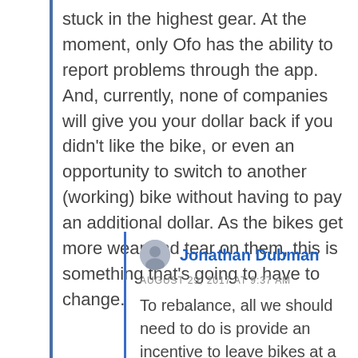stuck in the highest gear. At the moment, only Ofo has the ability to report problems through the app. And, currently, none of companies will give you your dollar back if you didn't like the bike, or even an opportunity to switch to another (working) bike without having to pay an additional dollar. As the bikes get more wear and tear on them, this is something that's going to have to change.
Jonathan Dubman
AUGUST 29, 2017 AT 9:37 AM
To rebalance, all we should need to do is provide an incentive to leave bikes at a higher elevation. We know the elevation for